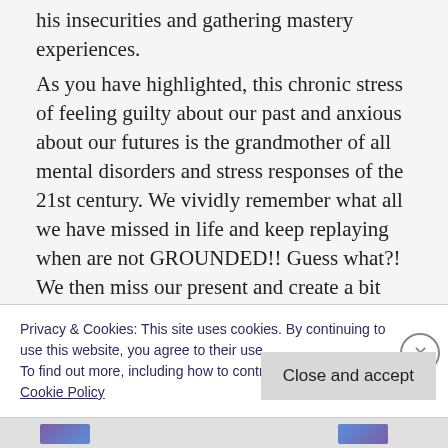his insecurities and gathering mastery experiences.
As you have highlighted, this chronic stress of feeling guilty about our past and anxious about our futures is the grandmother of all mental disorders and stress responses of the 21st century. We vividly remember what all we have missed in life and keep replaying when are not GROUNDED!! Guess what?! We then miss our present and create a bit more to be guilty about in the future. As if this wasn't enough, we plan.
Privacy & Cookies: This site uses cookies. By continuing to use this website, you agree to their use.
To find out more, including how to control cookies, see here:
Cookie Policy
Close and accept